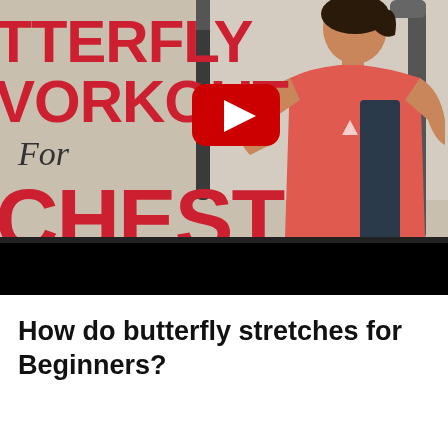[Figure (screenshot): YouTube video thumbnail showing a woman in a pink/red tank top using a butterfly chest press machine at a gym. Large red bold text on the left reads 'BUTTERFLY WORKOUT For CHEST'. A YouTube play button (red circle with white triangle) is visible in the center. A black progress bar is shown at the bottom of the thumbnail.]
How do butterfly stretches for Beginners?